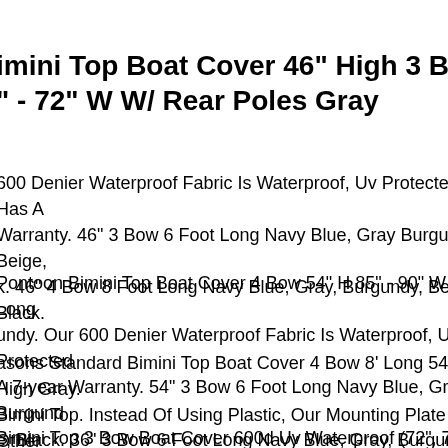imini Top Boat Cover 46" High 3 Bow 6' Ft. L " - 72" W W/ Rear Poles Gray
600 Denier Waterproof Fabric Is Waterproof, Uv Protected And Has A Warranty. 46" 3 Bow 6 Foot Long Navy Blue, Gray Burgundy, Beige, k. 46" 4 Bow 8 Foot Long Navy Blue, Gray, Burgundy, Beige, Black.
Pontoon Bimini Top Boat Cover 4 Bow 54" H 85" - 90" W 8 Ft. Long undy. Our 600 Denier Waterproof Fabric Is Waterproof, Uv Protected A 7-year Warranty. 54" 3 Bow 6 Foot Long Navy Blue, Gray, Burgund e, Black. 36" 3 Bow 6 Foot Long Navy Blue, Gray, Burgundy, Beige k.
asons Standard Bimini Top Boat Cover 4 Bow 8' Long 54" High Gray. Bimini Top. Instead Of Using Plastic, Our Mounting Plate And Other dware Are Made From Stainless Steel, Which Further Increases The ctural Integrity Of The Top. 1 X User Manual.
Bimini Top 3 Bow Boat Cover 600d Uv Waterproof (72", 78") Rear